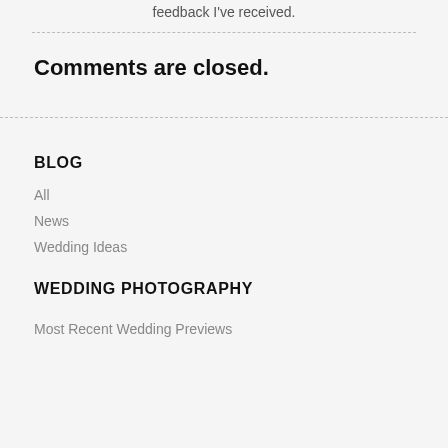feedback I've received.
Comments are closed.
BLOG
All
News
Wedding Ideas
WEDDING PHOTOGRAPHY
Most Recent Wedding Previews